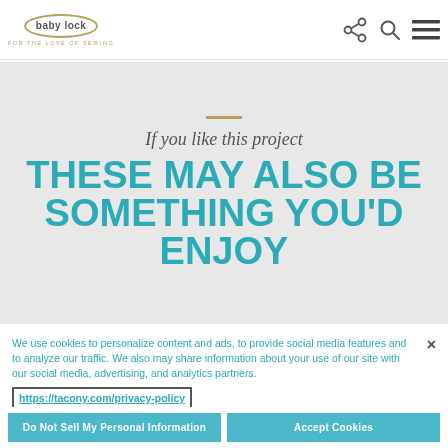baby lock — FOR THE LOVE OF SEWING
If you like this project
THESE MAY ALSO BE SOMETHING YOU'D ENJOY
We use cookies to personalize content and ads, to provide social media features and to analyze our traffic. We also may share information about your use of our site with our social media, advertising, and analytics partners.
https://tacony.com/privacy-policy
Do Not Sell My Personal Information
Accept Cookies